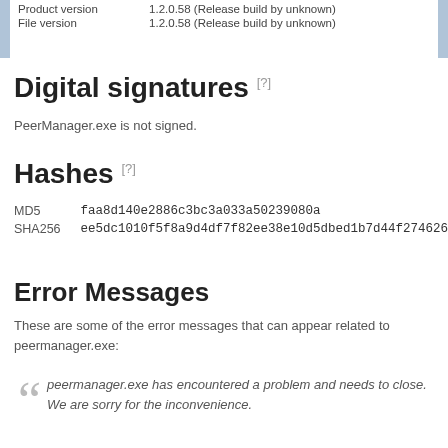| Product version | 1.2.0.58 (Release build by unknown) |
| File version | 1.2.0.58 (Release build by unknown) |
Digital signatures [?]
PeerManager.exe is not signed.
Hashes [?]
| MD5 | faa8d140e2886c3bc3a033a50239080a |
| SHA256 | ee5dc1010f5f8a9d4df7f82ee38e10d5dbed1b7d44f27462605e |
Error Messages
These are some of the error messages that can appear related to peermanager.exe:
peermanager.exe has encountered a problem and needs to close. We are sorry for the inconvenience.